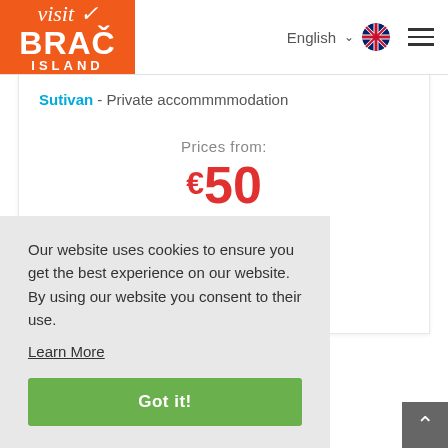[Figure (logo): Visit Brac Island logo — orange rectangle with 'visit' in italic white script, 'BRAC' in large bold white, 'ISLAND' in small white caps below]
English
Sutivan - Private accommmmodation
Prices from:
€50
Per night
Our website uses cookies to ensure you get the best experience on our website. By using our website you consent to their use.
Learn More
Got it!